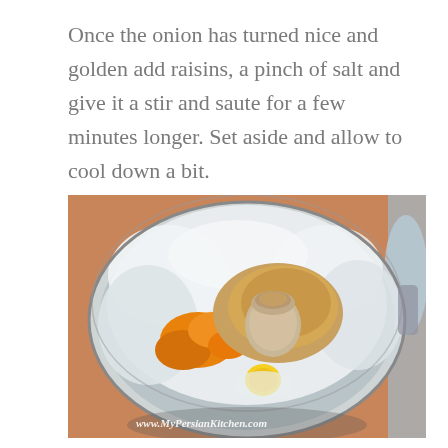Once the onion has turned nice and golden add raisins, a pinch of salt and give it a stir and saute for a few minutes longer. Set aside and allow to cool down a bit.
[Figure (photo): A food processor bowl viewed from above containing ingredients including chopped onion, turmeric powder, brown spice (cumin or coriander), and an egg yolk visible at the bottom. The bowl has a center processing attachment. Text overlay at bottom reads: www.MyPersianKitchen.com]